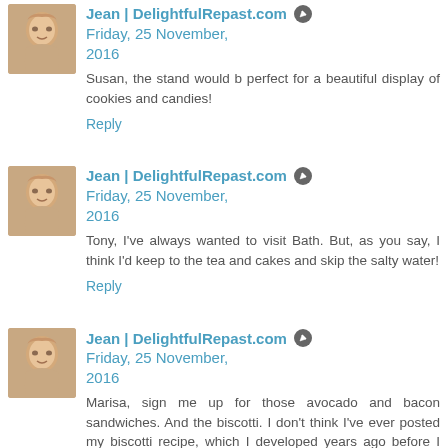[Figure (photo): Avatar photo of Jean from DelightfulRepast.com - woman with short hair]
Jean | DelightfulRepast.com  Friday, 25 November, 2016
Susan, the stand would b perfect for a beautiful display of cookies and candies!
Reply
[Figure (photo): Avatar photo of Jean from DelightfulRepast.com - woman with short hair]
Jean | DelightfulRepast.com  Friday, 25 November, 2016
Tony, I've always wanted to visit Bath. But, as you say, I think I'd keep to the tea and cakes and skip the salty water!
Reply
[Figure (photo): Avatar photo of Jean from DelightfulRepast.com - woman with short hair]
Jean | DelightfulRepast.com  Friday, 25 November, 2016
Marisa, sign me up for those avocado and bacon sandwiches. And the biscotti. I don't think I've ever posted my biscotti recipe, which I developed years ago before I discovered the internet!